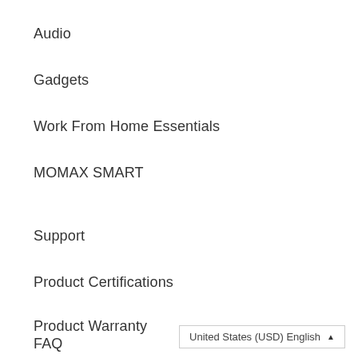Audio
Gadgets
Work From Home Essentials
MOMAX SMART
Support
Product Certifications
Product Warranty
FAQ
United States (USD) English ▲